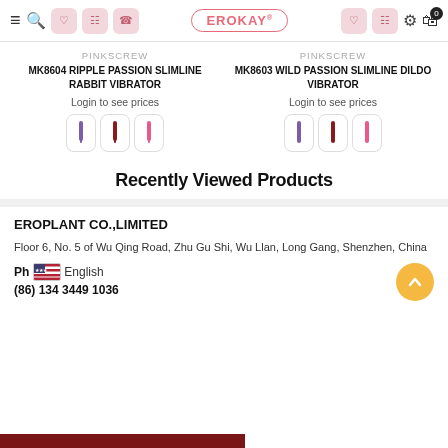EROKAY navigation header with menu, search, wishlist, cart icons and logo
PINKSCREW
MK8604 RIPPLE PASSION SLIMLINE RABBIT VIBRATOR
Login to see prices
[Figure (illustration): Three color swatch buttons showing vibrator in purple, dark red, and pink]
PINKSCREW
MK8603 WILD PASSION SLIMLINE DILDO VIBRATOR
Login to see prices
[Figure (illustration): Three color swatch buttons showing vibrator in purple, dark red, and pink]
Recently Viewed Products
EROPLANT CO.,LIMITED
Floor 6, No. 5 of Wu Qing Road, Zhu Gu Shi, Wu Llan, Long Gang, Shenzhen, China
Ph
English
(86) 134 3449 1036